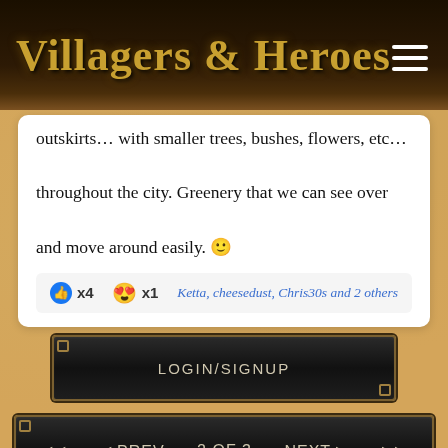Villagers & Heroes
outskirts... with smaller trees, bushes, flowers, etc... throughout the city. Greenery that we can see over and move around easily. 🙂
👍 x4  😍 x1   Ketta, cheesedust, Chris30s and 2 others
LOGIN/SIGNUP
◄◄  ◄ Prev  2 of 3  Next ►  ►►
↑ SCROLL TO TOP